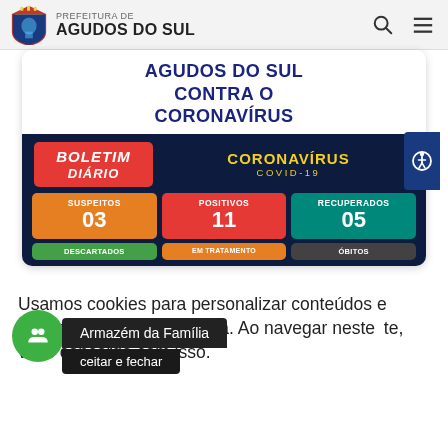PREFEITURA DE AGUDOS DO SUL
[Figure (infographic): COVID-19 daily bulletin for Agudos do Sul showing: SUSPEITOS 03, POSITIVOS 11, RECUPERADOS 05, with partially visible DESCARTADOS, EM TRATAMENTO, ÓBITOS rows below]
Usamos cookies para personalizar conteúdos e melhorar a sua experiência. Ao navegar neste site, você concorda com isso.
Armazém da Família
ceitar e fechar